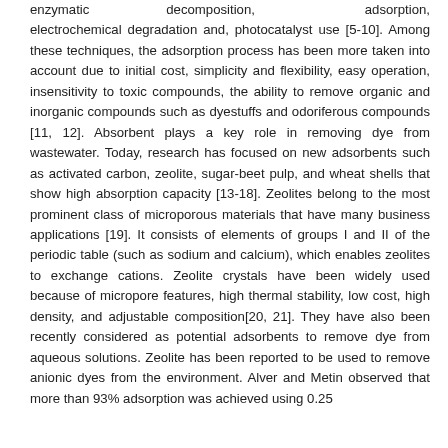enzymatic decomposition, adsorption, electrochemical degradation and, photocatalyst use [5-10]. Among these techniques, the adsorption process has been more taken into account due to initial cost, simplicity and flexibility, easy operation, insensitivity to toxic compounds, the ability to remove organic and inorganic compounds such as dyestuffs and odoriferous compounds [11, 12]. Absorbent plays a key role in removing dye from wastewater. Today, research has focused on new adsorbents such as activated carbon, zeolite, sugar-beet pulp, and wheat shells that show high absorption capacity [13-18]. Zeolites belong to the most prominent class of microporous materials that have many business applications [19]. It consists of elements of groups I and II of the periodic table (such as sodium and calcium), which enables zeolites to exchange cations. Zeolite crystals have been widely used because of micropore features, high thermal stability, low cost, high density, and adjustable composition[20, 21]. They have also been recently considered as potential adsorbents to remove dye from aqueous solutions. Zeolite has been reported to be used to remove anionic dyes from the environment. Alver and Metin observed that more than 93% adsorption was achieved using 0.25